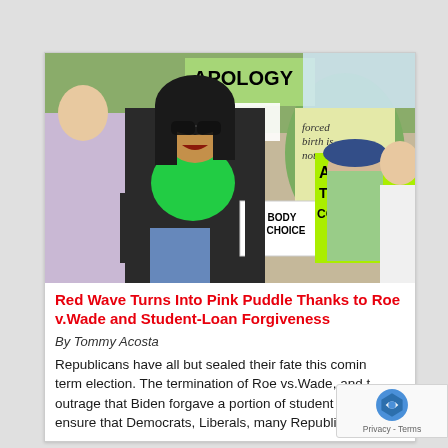[Figure (photo): Protest photo showing demonstrators holding signs including 'APOLOGY', 'forced birth is not cool', 'ABORT THE COURT', and 'MY BODY MY CHOICE'. Central figure is a woman wearing sunglasses and a green scarf/bandana, shouting, with other protesters visible in the background.]
Red Wave Turns Into Pink Puddle Thanks to Roe v.Wade and Student-Loan Forgiveness
By Tommy Acosta
Republicans have all but sealed their fate this coming mid-term election. The termination of Roe vs.Wade, and the outrage that Biden forgave a portion of student loans will ensure that Democrats, Liberals, many Republicans and